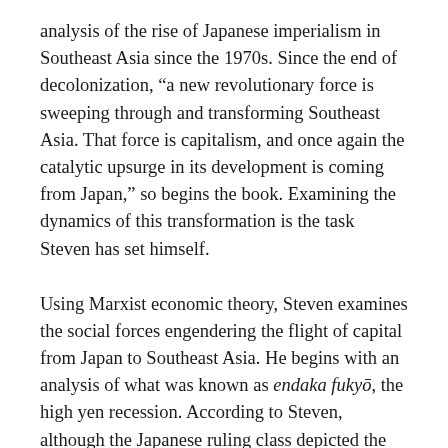analysis of the rise of Japanese imperialism in Southeast Asia since the 1970s. Since the end of decolonization, “a new revolutionary force is sweeping through and transforming Southeast Asia. That force is capitalism, and once again the catalytic upsurge in its development is coming from Japan,” so begins the book. Examining the dynamics of this transformation is the task Steven has set himself.
Using Marxist economic theory, Steven examines the social forces engendering the flight of capital from Japan to Southeast Asia. He begins with an analysis of what was known as endaka fukyō, the high yen recession. According to Steven, although the Japanese ruling class depicted the 1973 oil shock as the cause of Japan’s economic woes (not unexpectedly, Steven writes, because ever “since the Meiji Restoration, competition from foreign capital in one form or another, from the gunboat diplomacy of the 1860s through the